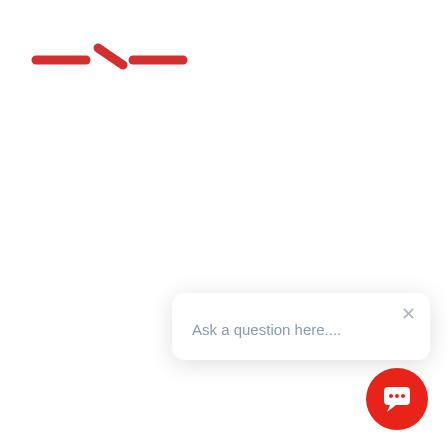[Figure (logo): Red dashed/broken horizontal line logo in top left corner, resembling a stylized dash-dot-dash pattern in red]
[Figure (screenshot): Chat popup widget with white rounded rectangle containing 'Ask a question here....' placeholder text and an X close button, plus a red circular chat button with speech bubble icon in the bottom right corner]